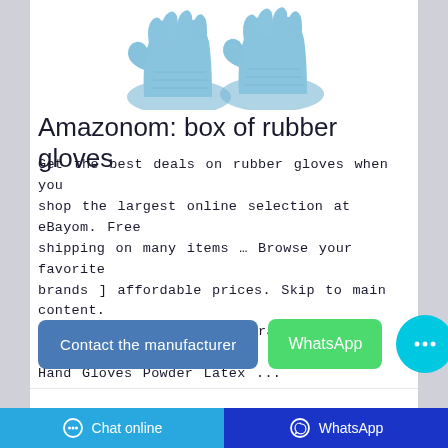[Figure (photo): Blue nitrile rubber gloves shown from above on white background, partially cropped at top]
Amazonom: box of rubber gloves
Get the best deals on rubber gloves when you shop the largest online selection at eBayom. Free shipping on many items … Browse your favorite brands ] affordable prices. Skip to main content. … 100 Pcs Nitrile Blue Durable Rubber Cleaning Hand Gloves Powder Latex ...
[Figure (other): Contact the manufacturer button (dark blue rounded rectangle), WhatsApp button (green rounded rectangle), and chat bubble button (cyan circle with ellipsis icon)]
Chat online   WhatsApp